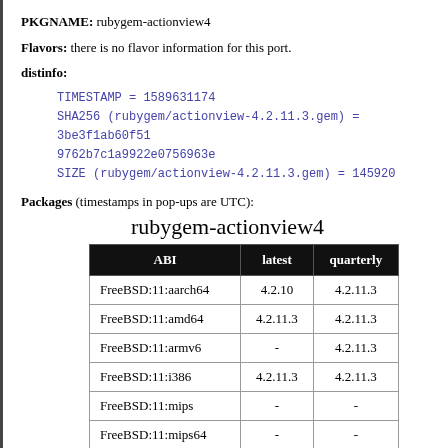PKGNAME: rubygem-actionview4
Flavors: there is no flavor information for this port.
distinfo:
TIMESTAMP = 1589631174
SHA256 (rubygem/actionview-4.2.11.3.gem) = 3be3f1ab60f51
9762b7c1a9922e0756963e
SIZE (rubygem/actionview-4.2.11.3.gem) = 145920
Packages (timestamps in pop-ups are UTC):
rubygem-actionview4
| ABI | latest | quarterly |
| --- | --- | --- |
| FreeBSD:11:aarch64 | 4.2.10 | 4.2.11.3 |
| FreeBSD:11:amd64 | 4.2.11.3 | 4.2.11.3 |
| FreeBSD:11:armv6 | - | 4.2.11.3 |
| FreeBSD:11:i386 | 4.2.11.3 | 4.2.11.3 |
| FreeBSD:11:mips | - | - |
| FreeBSD:11:mips64 | - | - |
| FreeBSD:12:aarch64 | 4.2.10 | 4.2.11.3 |